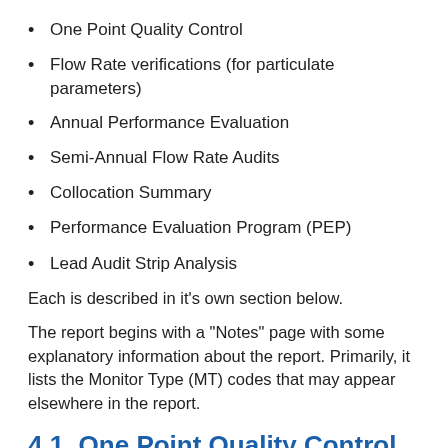One Point Quality Control
Flow Rate verifications (for particulate parameters)
Annual Performance Evaluation
Semi-Annual Flow Rate Audits
Collocation Summary
Performance Evaluation Program (PEP)
Lead Audit Strip Analysis
Each is described in it's own section below.
The report begins with a "Notes" page with some explanatory information about the report. Primarily, it lists the Monitor Type (MT) codes that may appear elsewhere in the report.
4.1. One Point Quality Control